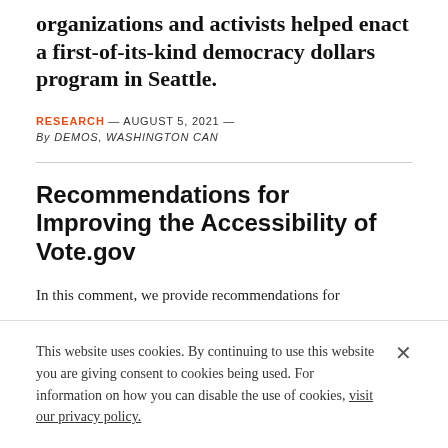A coalition of Black and brown community organizations and activists helped enact a first-of-its-kind democracy dollars program in Seattle.
RESEARCH — AUGUST 5, 2021 — By DEMOS, WASHINGTON CAN
Recommendations for Improving the Accessibility of Vote.gov
In this comment, we provide recommendations for
This website uses cookies. By continuing to use this website you are giving consent to cookies being used. For information on how you can disable the use of cookies, visit our privacy policy.